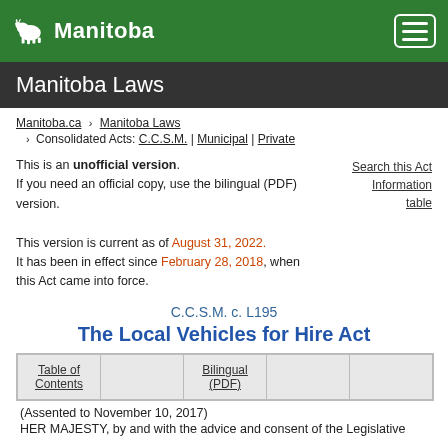Manitoba Laws
Manitoba.ca > Manitoba Laws > Consolidated Acts: C.C.S.M. | Municipal | Private
This is an unofficial version. If you need an official copy, use the bilingual (PDF) version.

This version is current as of August 31, 2022. It has been in effect since February 28, 2018, when this Act came into force.
Search this Act
Information table
C.C.S.M. c. L195
The Local Vehicles for Hire Act
| Table of Contents |  | Bilingual (PDF) |  |  |
| --- | --- | --- | --- | --- |
|  |
(Assented to November 10, 2017)
HER MAJESTY, by and with the advice and consent of the Legislative